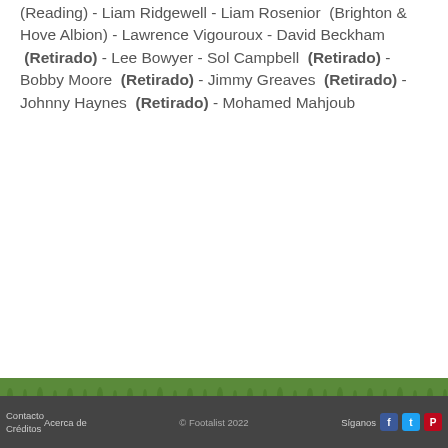(Reading) - Liam Ridgewell - Liam Rosenior (Brighton & Hove Albion) - Lawrence Vigouroux - David Beckham (Retirado) - Lee Bowyer - Sol Campbell (Retirado) - Bobby Moore (Retirado) - Jimmy Greaves (Retirado) - Johnny Haynes (Retirado) - Mohamed Mahjoub
Contacto · Créditos · Acerca de · © Footalist 2022 · Síganos